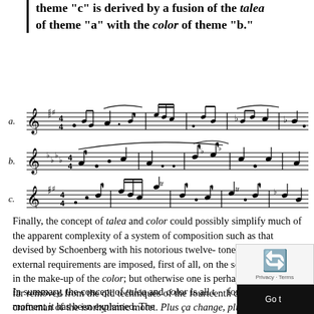theme "c" is derived by a fusion of the talea of theme "a" with the color of theme "b."
[Figure (illustration): Three lines of musical notation labeled a, b, and c, showing melodic themes with various time signatures, sharps, and flats, illustrating the fusion of talea and color between the three themes.]
Finally, the concept of talea and color could possibly simplify much of the apparent complexity of a system of composition such as that devised by Schoenberg with his notorious twelve-tone system. Certain external requirements are imposed, first of all, on the selection of tones in the make-up of the color; but otherwise one is perhaps not all that far removed from the old techniques of the fourteenth century craftsman of the isorhythmic motet. Plus ça change, plus c'est la même
In summary, the concept of talea and color is all t... forgotten the moment it has been explained. The...